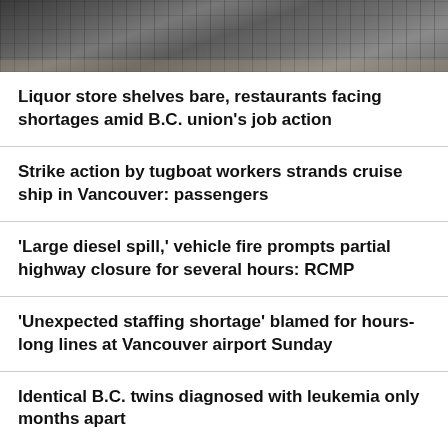[Figure (photo): Photograph of shelves or crates, partially visible at top of page, dark/shadowed image]
Liquor store shelves bare, restaurants facing shortages amid B.C. union's job action
Strike action by tugboat workers strands cruise ship in Vancouver: passengers
'Large diesel spill,' vehicle fire prompts partial highway closure for several hours: RCMP
'Unexpected staffing shortage' blamed for hours-long lines at Vancouver airport Sunday
Identical B.C. twins diagnosed with leukemia only months apart